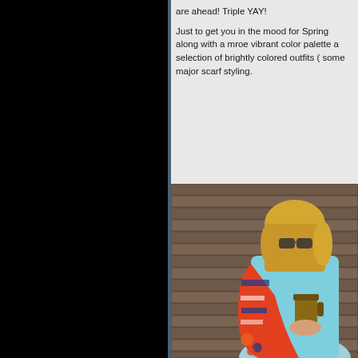are ahead! Triple YAY!
Just to get you in the mood for Spring along with a mroe vibrant color palette a selection of brightly colored outfits ( some major scarf styling.
[Figure (photo): A blonde woman wearing sunglasses and a light blue coat with a colorful patterned scarf/shawl, holding a coffee cup, standing against a wooden wall background.]